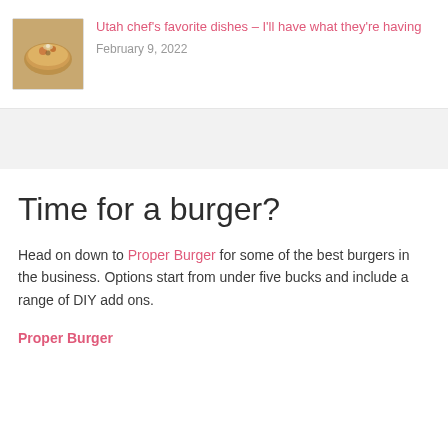[Figure (photo): Thumbnail photo of a food dish, appearing to be a bowl of soup or stew with garnish, warm orange/brown tones]
Utah chef's favorite dishes – I'll have what they're having
February 9, 2022
Time for a burger?
Head on down to Proper Burger for some of the best burgers in the business. Options start from under five bucks and include a range of DIY add ons.
Proper Burger